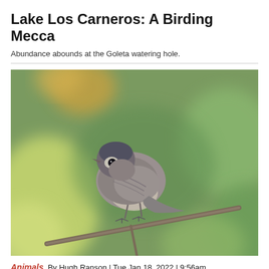Lake Los Carneros: A Birding Mecca
Abundance abounds at the Goleta watering hole.
[Figure (photo): Close-up photograph of a small grey bird perched on a branch, with blurred green and yellow foliage in the background.]
Animals  By Hugh Ranson | Tue Jan 18, 2022 | 9:56am